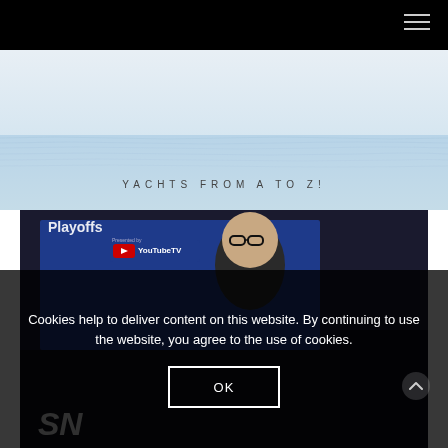Navigation bar with hamburger menu
YACHTS FROM A TO Z!
[Figure (photo): Ocean/sea horizon background image with calm water and pale sky]
[Figure (photo): Press conference or sports event photo showing a man wearing glasses and dark clothing, with 'Playoffs' and 'YouTube TV' branding visible in background, and SN (Sportsnet) logo in lower left]
Cookies help to deliver content on this website. By continuing to use the website, you agree to the use of cookies.
OK